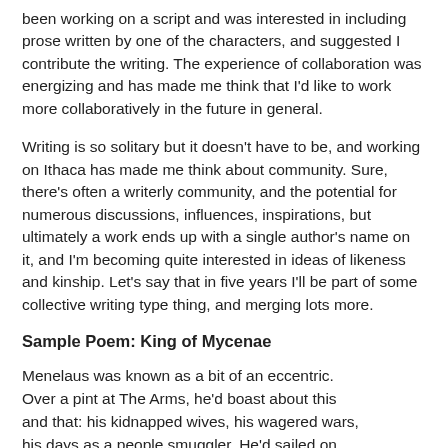been working on a script and was interested in including prose written by one of the characters, and suggested I contribute the writing. The experience of collaboration was energizing and has made me think that I'd like to work more collaboratively in the future in general.
Writing is so solitary but it doesn't have to be, and working on Ithaca has made me think about community. Sure, there's often a writerly community, and the potential for numerous discussions, influences, inspirations, but ultimately a work ends up with a single author's name on it, and I'm becoming quite interested in ideas of likeness and kinship. Let's say that in five years I'll be part of some collective writing type thing, and merging lots more.
Sample Poem: King of Mycenae
Menelaus was known as a bit of an eccentric.
Over a pint at The Arms, he'd boast about this
and that: his kidnapped wives, his wagered wars,
his days as a people smuggler. He'd sailed on
the Queen Mary, ridden on the Orient Express,